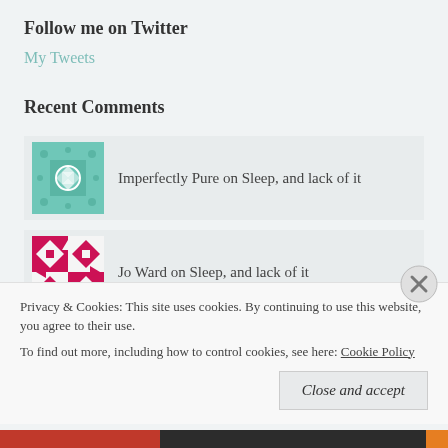Follow me on Twitter
My Tweets
Recent Comments
Imperfectly Pure on Sleep, and lack of it
Jo Ward on Sleep, and lack of it
sonia on My little Foodie In Training
Privacy & Cookies: This site uses cookies. By continuing to use this website, you agree to their use. To find out more, including how to control cookies, see here: Cookie Policy
Close and accept